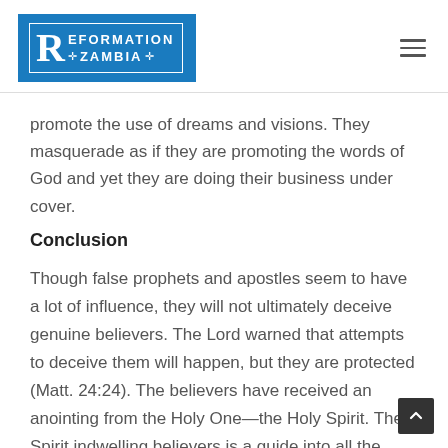[Figure (logo): Reformation Zambia logo — blue rectangle with white serif R and text REFORMATION ZAMBIA with cross symbols]
promote the use of dreams and visions. They masquerade as if they are promoting the words of God and yet they are doing their business under cover.
Conclusion
Though false prophets and apostles seem to have a lot of influence, they will not ultimately deceive genuine believers. The Lord warned that attempts to deceive them will happen, but they are protected (Matt. 24:24). The believers have received an anointing from the Holy One—the Holy Spirit. The Spirit indwelling believers is a guide into all the truth (John 16:13). The Spirit who indwells